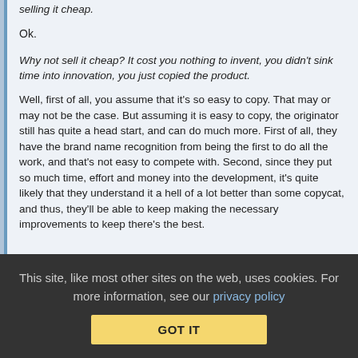selling it cheap.
Ok.
Why not sell it cheap? It cost you nothing to invent, you didn't sink time into innovation, you just copied the product.
Well, first of all, you assume that it's so easy to copy. That may or may not be the case. But assuming it is easy to copy, the originator still has quite a head start, and can do much more. First of all, they have the brand name recognition from being the first to do all the work, and that's not easy to compete with. Second, since they put so much time, effort and money into the development, it's quite likely that they understand it a hell of a lot better than some copycat, and thus, they'll be able to keep making the necessary improvements to keep there's the best.
This site, like most other sites on the web, uses cookies. For more information, see our privacy policy  GOT IT